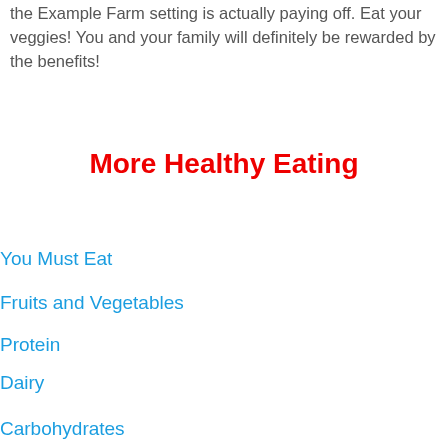the Example Farm setting is actually paying off. Eat your veggies! You and your family will definitely be rewarded by the benefits!
More Healthy Eating
You Must Eat
Fruits and Vegetables
Protein
Dairy
Carbohydrates